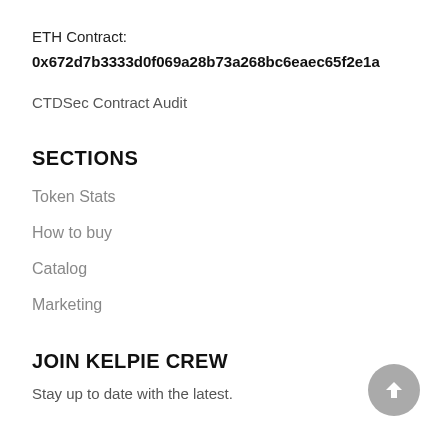ETH Contract:
0x672d7b3333d0f069a28b73a268bc6eaec65f2e1a
CTDSec Contract Audit
SECTIONS
Token Stats
How to buy
Catalog
Marketing
JOIN KELPIE CREW
Stay up to date with the latest.